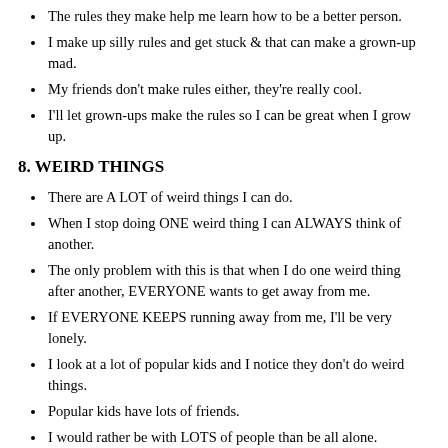The rules they make help me learn how to be a better person.
I make up silly rules and get stuck & that can make a grown-up mad.
My friends don't make rules either, they're really cool.
I'll let grown-ups make the rules so I can be great when I grow up.
8. WEIRD THINGS
There are A LOT of weird things I can do.
When I stop doing ONE weird thing I can ALWAYS think of another.
The only problem with this is that when I do one weird thing after another, EVERYONE wants to get away from me.
If EVERYONE KEEPS running away from me, I'll be very lonely.
I look at a lot of popular kids and I notice they don't do weird things.
Popular kids have lots of friends.
I would rather be with LOTS of people than be all alone.